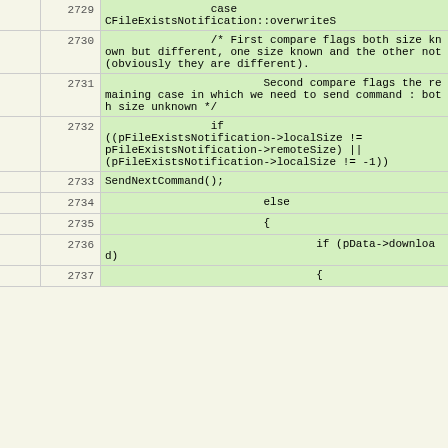|  | line | code |
| --- | --- | --- |
|  | 2729 |                 case CFileExistsNotification::overwriteS |
|  | 2730 |                 /* First compare flags both size known but different, one size known and the other not (obviously they are different). |
|  | 2731 |                         Second compare flags the remaining case in which we need to send command : both size unknown */ |
|  | 2732 |                 if ((pFileExistsNotification->localSize != pFileExistsNotification->remoteSize) || (pFileExistsNotification->localSize != -1)) |
|  | 2733 | SendNextCommand(); |
|  | 2734 |                         else |
|  | 2735 |                         { |
|  | 2736 |                                 if (pData->download) |
|  | 2737 |                                 { |